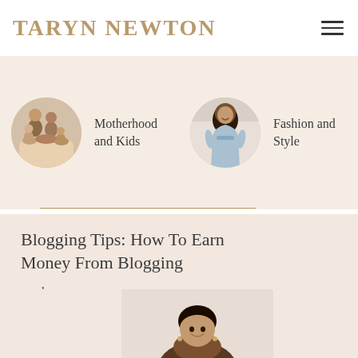TARYN NEWTON
[Figure (photo): Category card showing a family photo (mother, father, and children) in warm tones with label 'Motherhood and Kids']
[Figure (photo): Category card showing a woman in a blue dress, fashion/style photo, with label 'Fashion and Style']
Blogging Tips: How To Earn Money From Blogging
read more
[Figure (photo): Large number '03' in golden/tan color overlaid on a partial portrait photo of a smiling woman]